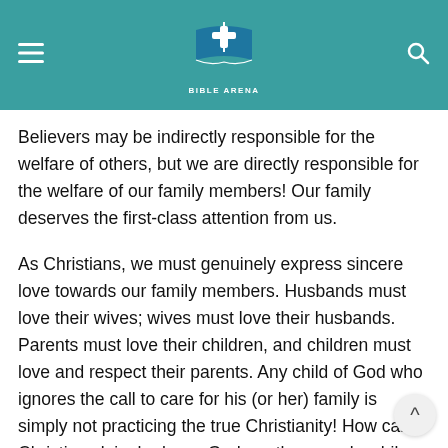Bible Arena
Believers may be indirectly responsible for the welfare of others, but we are directly responsible for the welfare of our family members! Our family deserves the first-class attention from us.
As Christians, we must genuinely express sincere love towards our family members. Husbands must love their wives; wives must love their husbands. Parents must love their children, and children must love and respect their parents. Any child of God who ignores the call to care for his (or her) family is simply not practicing the true Christianity! How can a Christian claim he loves God or other people while he has neglected his